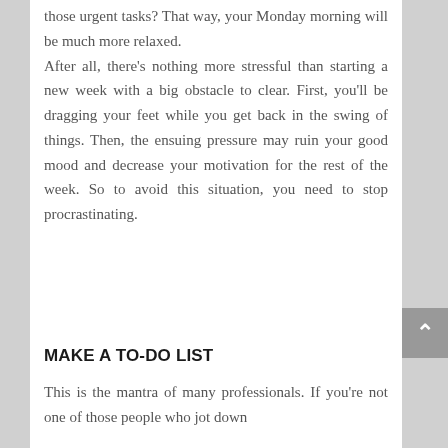those urgent tasks? That way, your Monday morning will be much more relaxed. After all, there's nothing more stressful than starting a new week with a big obstacle to clear. First, you'll be dragging your feet while you get back in the swing of things. Then, the ensuing pressure may ruin your good mood and decrease your motivation for the rest of the week. So to avoid this situation, you need to stop procrastinating.
MAKE A TO-DO LIST
This is the mantra of many professionals. If you're not one of those people who jot down